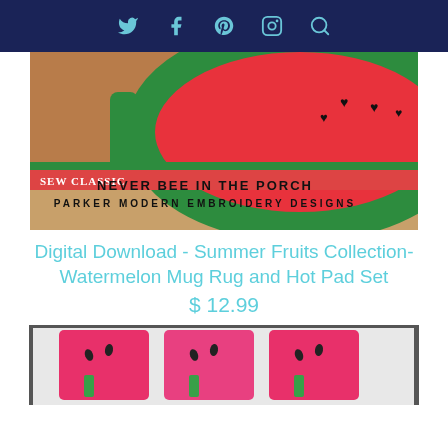social icons: twitter, facebook, pinterest, instagram, search
[Figure (photo): Watermelon shaped mug rug and hot pad set displayed on books including 'Sew Classic Modern Embroidery Designs', with watermelon slice design in red, white, and green with black heart seeds]
Digital Download - Summer Fruits Collection- Watermelon Mug Rug and Hot Pad Set
$ 12.99
[Figure (photo): Watermelon mug rug pieces in bright pink with green accents and black seeds, displayed on a rack]